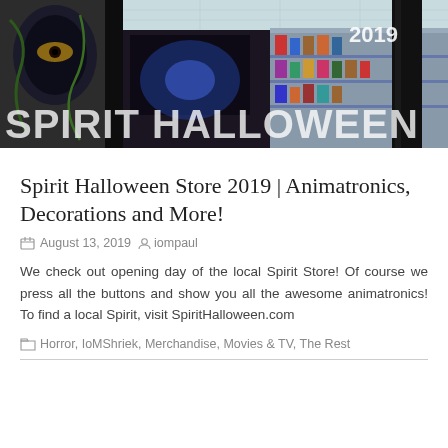[Figure (photo): Interior of Spirit Halloween store with decorations, animatronics, shelves with merchandise. Large bold text overlay reads 'SPIRIT HALLOWEEN 2019'.]
Spirit Halloween Store 2019 | Animatronics, Decorations and More!
August 13, 2019  iompaul
We check out opening day of the local Spirit Store! Of course we press all the buttons and show you all the awesome animatronics! To find a local Spirit, visit SpiritHalloween.com
Horror, IoMShriek, Merchandise, Movies & TV, The Rest